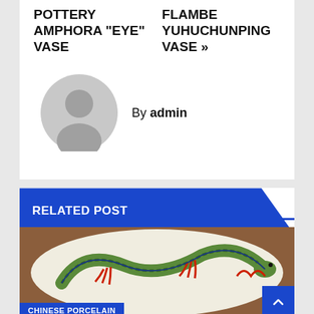POTTERY AMPHORA “EYE” VASE
FLAMBE YUHUCHUNPING VASE »»
By admin
RELATED POST
[Figure (photo): Chinese porcelain plate with dragon design in green, blue, red on white background]
CHINESE PORCELAIN